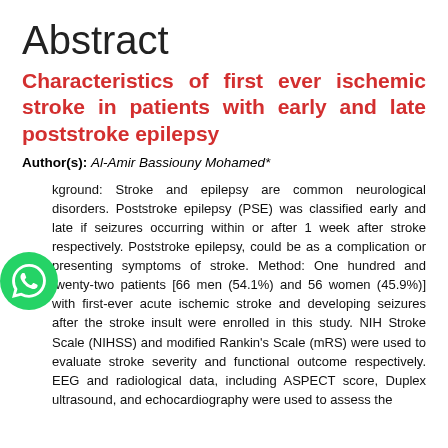Abstract
Characteristics of first ever ischemic stroke in patients with early and late poststroke epilepsy
Author(s): Al-Amir Bassiouny Mohamed*
Background: Stroke and epilepsy are common neurological disorders. Poststroke epilepsy (PSE) was classified early and late if seizures occurring within or after 1 week after stroke respectively. Poststroke epilepsy, could be as a complication or presenting symptoms of stroke. Method: One hundred and twenty-two patients [66 men (54.1%) and 56 women (45.9%)] with first-ever acute ischemic stroke and developing seizures after the stroke insult were enrolled in this study. NIH Stroke Scale (NIHSS) and modified Rankin's Scale (mRS) were used to evaluate stroke severity and functional outcome respectively. EEG and radiological data, including ASPECT score, Duplex ultrasound, and echocardiography were used to assess the